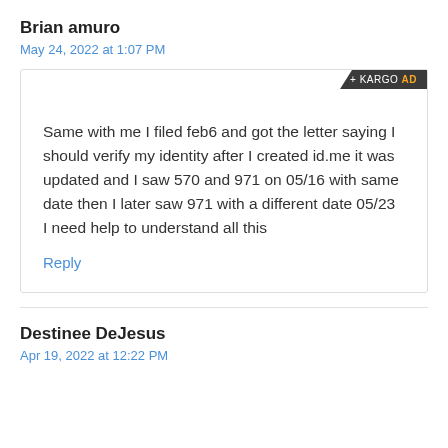Brian amuro
May 24, 2022 at 1:07 PM
Same with me I filed feb6 and got the letter saying I should verify my identity after I created id.me it was updated and I saw 570 and 971 on 05/16 with same date then I later saw 971 with a different date 05/23
I need help to understand all this
Reply
Destinee DeJesus
Apr 19, 2022 at 12:22 PM